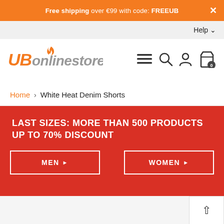Free shipping over €99 with code: FREEUB
Help
[Figure (logo): UBonlinestore logo in orange and grey italic bold font]
Home > White Heat Denim Shorts
LAST SIZES: MORE THAN 500 PRODUCTS UP TO 70% DISCOUNT
MEN ▶
WOMEN ▶